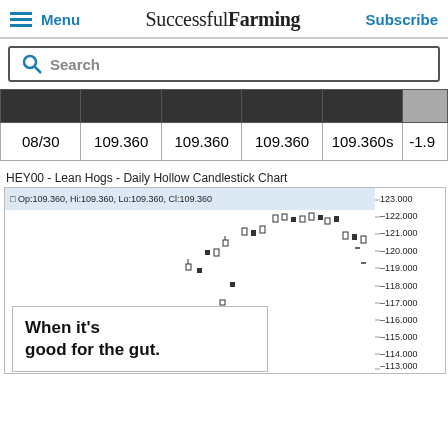Menu | Successful Farming | Subscribe
Search
|  |  |  |  |  |  |
| --- | --- | --- | --- | --- | --- |
| 08/30 | 109.360 | 109.360 | 109.360 | 109.360s | -1.9 |
HEY00 - Lean Hogs - Daily Hollow Candlestick Chart
[Figure (continuous-plot): Daily Hollow Candlestick Chart for HEY00 Lean Hogs. Price range approximately 113-123. Shows candlestick price action with an annotation overlay: Op:109.360, Hi:109.360, Lo:109.360, Cl:109.360. Y-axis labels: 123.000, 122.000, 121.000, 120.000, 119.000, 118.000, 117.000, 116.000, 115.000, 114.000, 113.000. Advertisement overlay showing 'When it's good for the gut.']